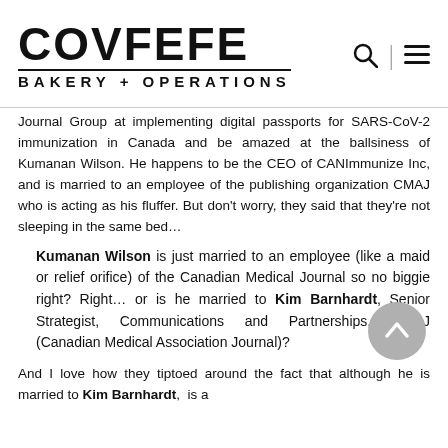COVFEFE BAKERY + OPERATIONS
Journal Group at implementing digital passports for SARS-CoV-2 immunization in Canada and be amazed at the ballsiness of Kumanan Wilson. He happens to be the CEO of CANImmunize Inc, and is married to an employee of the publishing organization CMAJ who is acting as his fluffer. But don't worry, they said that they're not sleeping in the same bed...
Kumanan Wilson is just married to an employee (like a maid or relief orifice) of the Canadian Medical Journal so no biggie right? Right... or is he married to Kim Barnhardt, Senior Strategist, Communications and Partnerships, CMAJ (Canadian Medical Association Journal)?
And I love how they tiptoed around the fact that although he is married to Kim Barnhardt, is a